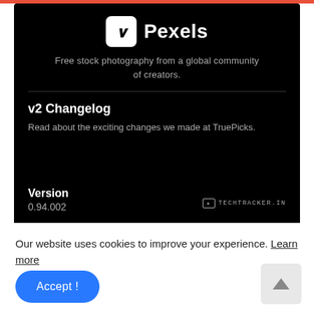[Figure (screenshot): Screenshot of Pexels browser extension page on dark background showing logo, tagline, v2 Changelog section, and version 0.94.002 with TechTracker.in watermark]
Our website uses cookies to improve your experience. Learn more
Accept !